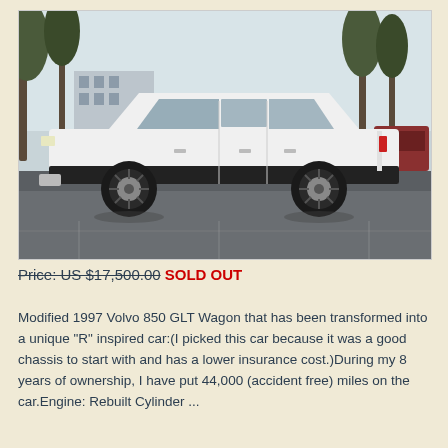[Figure (photo): Side profile photo of a white 1997 Volvo 850 GLT Wagon with black wheels and black side trim stripe, parked in a parking lot with trees and a building in the background.]
Price: US $17,500.00 SOLD OUT
Modified 1997 Volvo 850 GLT Wagon that has been transformed into a unique "R" inspired car:(I picked this car because it was a good chassis to start with and has a lower insurance cost.)During my 8 years of ownership, I have put 44,000 (accident free) miles on the car.Engine: Rebuilt Cylinder ...